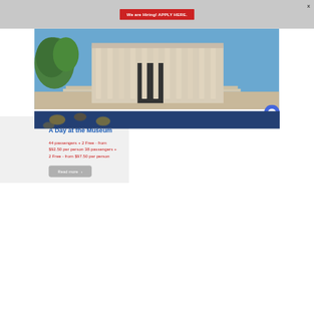We are Hiring! APPLY HERE.
X
[Figure (photo): Exterior of a neoclassical museum building with large columns, blue sky and trees visible]
A Day at the Museum
44 passengers + 2 Free - from $92.50 per person 38 passengers + 2 Free - from $97.50 per person
Read more >
[Figure (photo): Close-up of shellfish or clams, blue and golden tones]
[Figure (other): Blue chat bubble icon button]